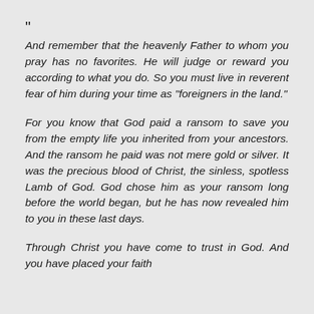“
And remember that the heavenly Father to whom you pray has no favorites. He will judge or reward you according to what you do. So you must live in reverent fear of him during your time as “foreigners in the land.”
For you know that God paid a ransom to save you from the empty life you inherited from your ancestors. And the ransom he paid was not mere gold or silver. It was the precious blood of Christ, the sinless, spotless Lamb of God. God chose him as your ransom long before the world began, but he has now revealed him to you in these last days.
Through Christ you have come to trust in God. And you have placed your faith